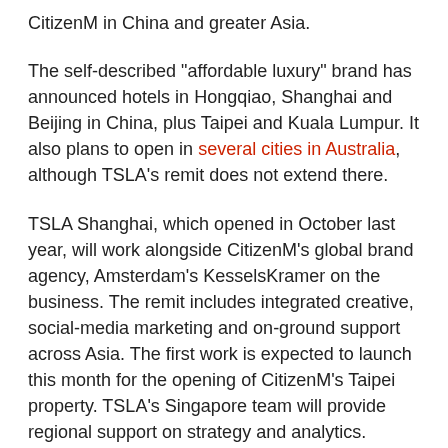CitizenM in China and greater Asia.
The self-described "affordable luxury" brand has announced hotels in Hongqiao, Shanghai and Beijing in China, plus Taipei and Kuala Lumpur. It also plans to open in several cities in Australia, although TSLA's remit does not extend there.
TSLA Shanghai, which opened in October last year, will work alongside CitizenM's global brand agency, Amsterdam's KesselsKramer on the business. The remit includes integrated creative, social-media marketing and on-ground support across Asia. The first work is expected to launch this month for the opening of CitizenM's Taipei property. TSLA's Singapore team will provide regional support on strategy and analytics.
The account "will be a test of our abilities to grow a great brand into China and Asia" in partnership with KesselsKramer, said Krystie Koh, managing director at